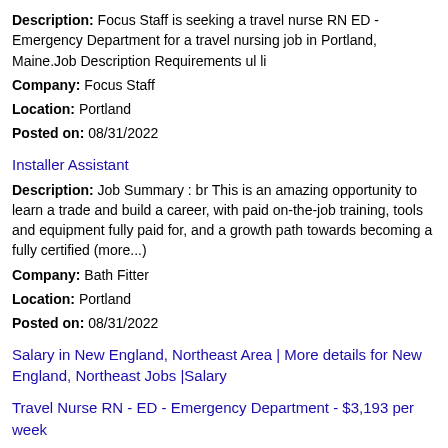Description: Focus Staff is seeking a travel nurse RN ED - Emergency Department for a travel nursing job in Portland, Maine.Job Description Requirements ul li
Company: Focus Staff
Location: Portland
Posted on: 08/31/2022
Installer Assistant
Description: Job Summary : br This is an amazing opportunity to learn a trade and build a career, with paid on-the-job training, tools and equipment fully paid for, and a growth path towards becoming a fully certified (more...)
Company: Bath Fitter
Location: Portland
Posted on: 08/31/2022
Salary in New England, Northeast Area | More details for New England, Northeast Jobs |Salary
Travel Nurse RN - ED - Emergency Department - $3,193 per week
Description: Emerald Health Services is seeking a travel nurse RN ED - Emergency Department for a travel nursing job in Portland, Maine.Job Description Requirements ul Specialty: ED - Emergency